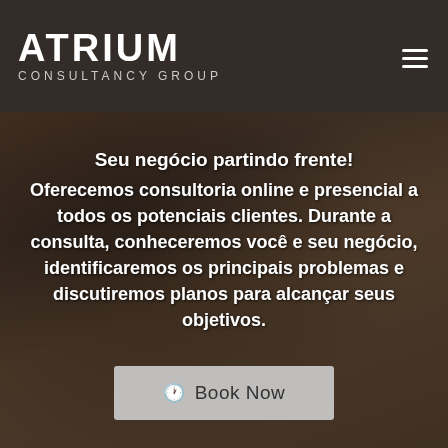[Figure (photo): Background photo of a person working with a laptop and tablet on a wooden surface, dark moody tones]
ATRIUM CONSULTANCY GROUP
Seu negócio partindo frente! Oferecemos consultoria online e presencial a todos os potenciais clientes. Durante a consulta, conheceremos você e seu negócio, identificaremos os principais problemas e discutiremos planos para alcançar seus objetivos.
Book Now